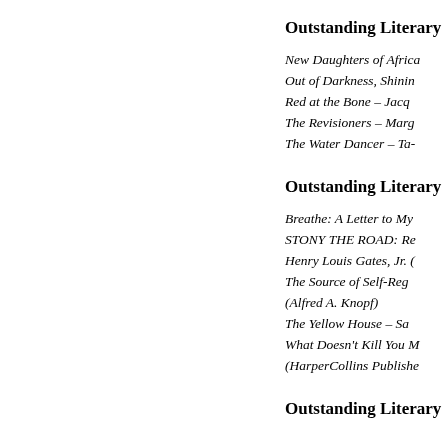Outstanding Literary
New Daughters of Africa
Out of Darkness, Shinin
Red at the Bone – Jacq
The Revisioners – Marg
The Water Dancer – Ta-
Outstanding Literary
Breathe: A Letter to My
STONY THE ROAD: Re
Henry Louis Gates, Jr. (
The Source of Self-Reg
(Alfred A. Knopf)
The Yellow House – Sa
What Doesn't Kill You M
(HarperCollins Publishe
Outstanding Literary